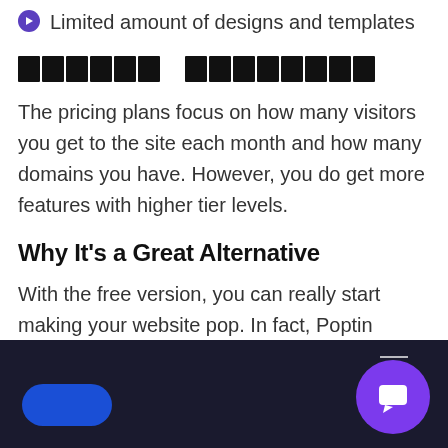Limited amount of designs and templates
██████ ████████
The pricing plans focus on how many visitors you get to the site each month and how many domains you have. However, you do get more features with higher tier levels.
Why It's a Great Alternative
With the free version, you can really start making your website pop. In fact, Poptin grows with you and